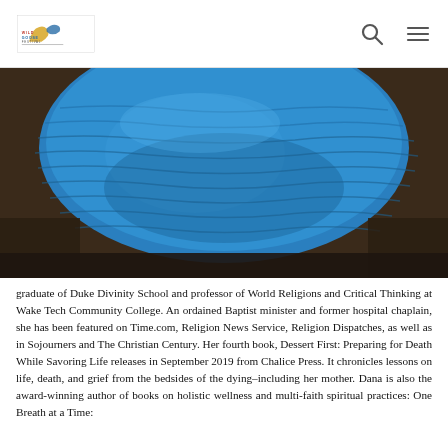Wild Goose Festival
[Figure (photo): Close-up photo of a person wearing a bright blue chunky knit cowl scarf, with a dark jacket visible below.]
graduate of Duke Divinity School and professor of World Religions and Critical Thinking at Wake Tech Community College. An ordained Baptist minister and former hospital chaplain, she has been featured on Time.com, Religion News Service, Religion Dispatches, as well as in Sojourners and The Christian Century. Her fourth book, Dessert First: Preparing for Death While Savoring Life releases in September 2019 from Chalice Press. It chronicles lessons on life, death, and grief from the bedsides of the dying–including her mother. Dana is also the award-winning author of books on holistic wellness and multi-faith spiritual practices: One Breath at a Time: